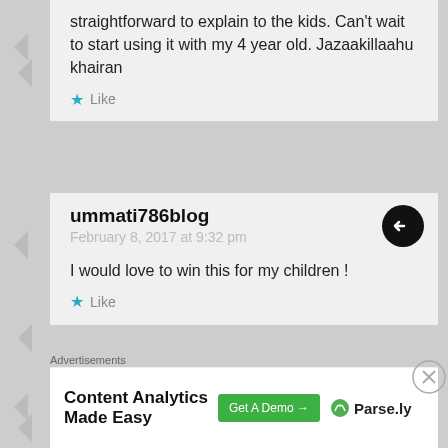straightforward to explain to the kids. Can't wait to start using it with my 4 year old. Jazaakillaahu khairan
Like
ummati786blog
February 8, 2017 at 9:32 pm
I would love to win this for my children !
Like
umm maryam
February 8, 2017 at 6:04 pm
Advertisements
Content Analytics Made Easy
Get A Demo →
Parse.ly